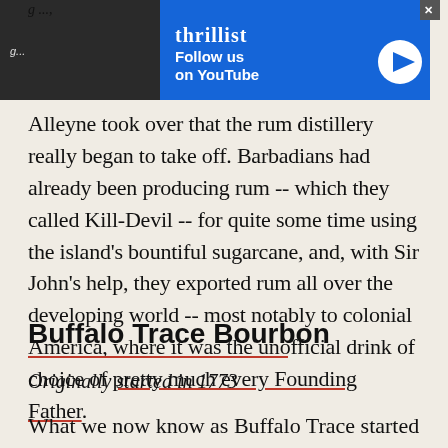[Figure (screenshot): Thrillist advertisement banner: Follow us on YouTube, with play button icon and Thrillist logo on dark background image, with X close button]
Alleyne took over that the rum distillery really began to take off. Barbadians had already been producing rum -- which they called Kill-Devil -- for quite some time using the island's bountiful sugarcane, and, with Sir John's help, they exported rum all over the developing world -- most notably to colonial America, where it was the unofficial drink of choice of pretty much every Founding Father.
Buffalo Trace Bourbon
Originally started in 1773
What we now know as Buffalo Trace started as two